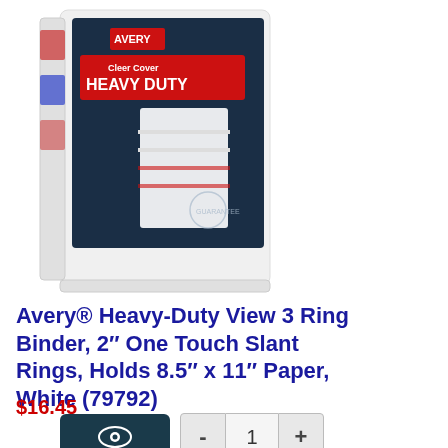[Figure (photo): Avery Heavy Duty 3 Ring Binder product box. White binder with a dark navy blue cover insert showing the Avery logo, a red banner reading 'HEAVY DUTY', and product features. The binder and its packaging are shown against a white background.]
Avery® Heavy-Duty View 3 Ring Binder, 2″ One Touch Slant Rings, Holds 8.5″ x 11″ Paper, White (79792)
$16.45